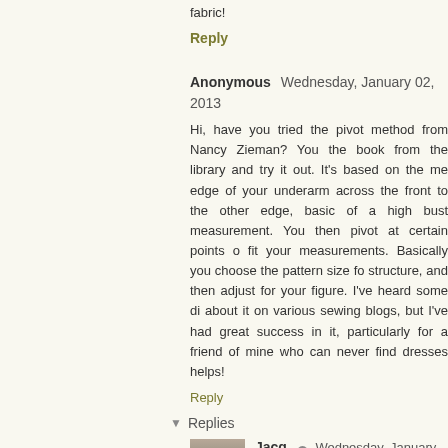fabric!
Reply
Anonymous   Wednesday, January 02, 2013
Hi, have you tried the pivot method from Nancy Zieman? You the book from the library and try it out. It's based on the me edge of your underarm across the front to the other edge, basic of a high bust measurement. You then pivot at certain points o fit your measurements. Basically you choose the pattern size fo structure, and then adjust for your figure. I've heard some di about it on various sewing blogs, but I've had great success in it, particularly for a friend of mine who can never find dresses helps!
Reply
Replies
Jacq C   Wednesday, January 02, 2013
Thank you for the tip, I'll add it to my arsenal of tools to I've been reading 'Fit for Real People' and that make high bust measurement is key too. Frankly I'm prepar